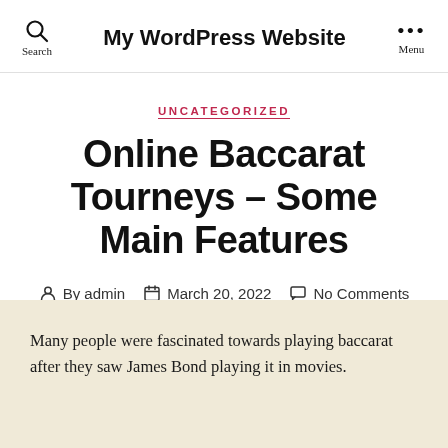My WordPress Website
UNCATEGORIZED
Online Baccarat Tourneys – Some Main Features
By admin   March 20, 2022   No Comments
Many people were fascinated towards playing baccarat after they saw James Bond playing it in movies.